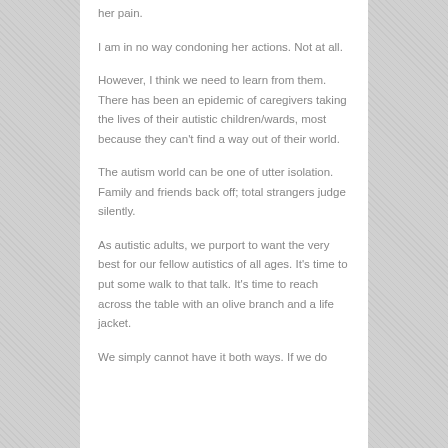her pain.
I am in no way condoning her actions. Not at all.
However, I think we need to learn from them. There has been an epidemic of caregivers taking the lives of their autistic children/wards, most because they can't find a way out of their world.
The autism world can be one of utter isolation. Family and friends back off; total strangers judge silently.
As autistic adults, we purport to want the very best for our fellow autistics of all ages. It's time to put some walk to that talk. It's time to reach across the table with an olive branch and a life jacket.
We simply cannot have it both ways. If we do